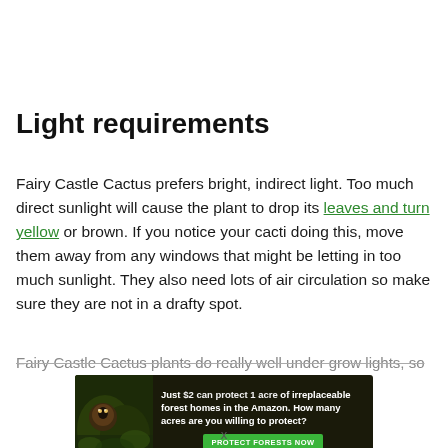Light requirements
Fairy Castle Cactus prefers bright, indirect light. Too much direct sunlight will cause the plant to drop its leaves and turn yellow or brown. If you notice your cacti doing this, move them away from any windows that might be letting in too much sunlight. They also need lots of air circulation so make sure they are not in a drafty spot.
Fairy Castle Cactus plants do really well under grow lights, so
[Figure (other): Advertisement banner: 'Just $2 can protect 1 acre of irreplaceable forest homes in the Amazon. How many acres are you willing to protect?' with a green PROTECT FORESTS NOW button and a dark jungle background with an animal.]
x